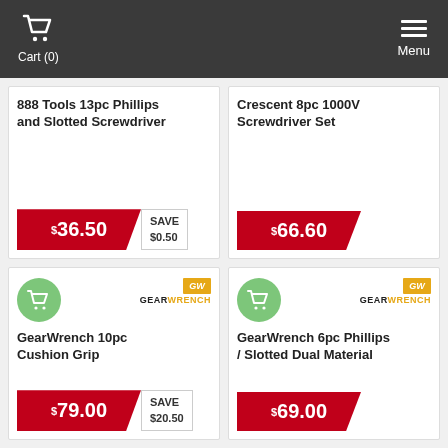Cart (0)  Menu
888 Tools 13pc Phillips and Slotted Screwdriver
$36.50 SAVE $0.50
Crescent 8pc 1000V Screwdriver Set
$66.60
[Figure (screenshot): GearWrench logo with GW icon in orange]
GearWrench 10pc Cushion Grip
$79.00 SAVE $20.50
[Figure (screenshot): GearWrench logo with GW icon in orange]
GearWrench 6pc Phillips / Slotted Dual Material
$69.00